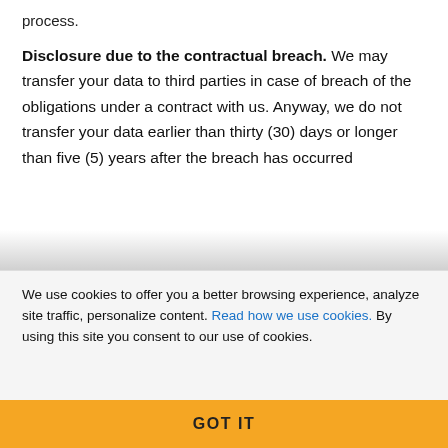process.
Disclosure due to the contractual breach. We may transfer your data to third parties in case of breach of the obligations under a contract with us. Anyway, we do not transfer your data earlier than thirty (30) days or longer than five (5) years after the breach has occurred
We use cookies to offer you a better browsing experience, analyze site traffic, personalize content. Read how we use cookies. By using this site you consent to our use of cookies.
GOT IT